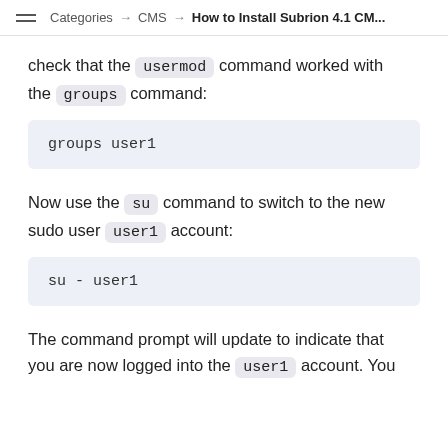Categories → CMS → How to Install Subrion 4.1 CM...
check that the usermod command worked with the groups command:
groups user1
Now use the su command to switch to the new sudo user user1 account:
su - user1
The command prompt will update to indicate that you are now logged into the user1 account. You